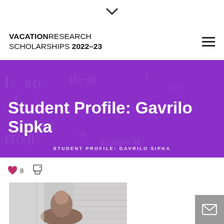▾
VACATION RESEARCH SCHOLARSHIPS 2022–23
[Figure (illustration): Purple banner with mathematical formulas in background showing text 'Student Profile: Gavrilo Sipka' and subtitle 'STUDENT PROFILE: GAVRILO SIPKA']
♥ 8
[Figure (photo): Photo of Gavrilo Sipka in front of a brick building]
[Figure (other): Email contact button (grey square with envelope icon)]